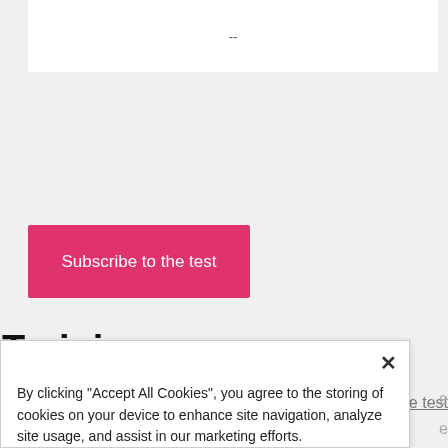[Figure (screenshot): White card area at top with a dash/em-dash centered inside it, on a gray background]
[Figure (screenshot): Pink/magenta Subscribe to the test button]
Find out about the test
Training rooms
By clicking "Accept All Cookies", you agree to the storing of cookies on your device to enhance site navigation, analyze site usage, and assist in our marketing efforts.